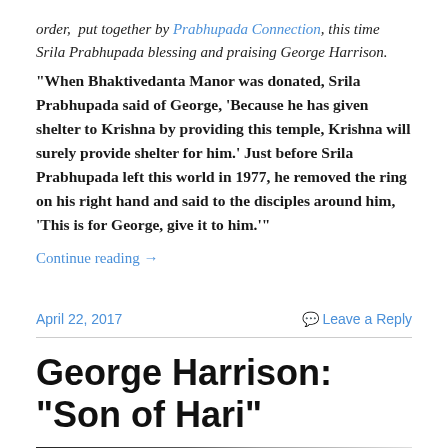order,  put together by Prabhupada Connection, this time Srila Prabhupada blessing and praising George Harrison.
“When Bhaktivedanta Manor was donated, Srila Prabhupada said of George, ‘Because he has given shelter to Krishna by providing this temple, Krishna will surely provide shelter for him.’ Just before Srila Prabhupada left this world in 1977, he removed the ring on his right hand and said to the disciples around him, ‘This is for George, give it to him.’”
Continue reading →
April 22, 2017
Leave a Reply
George Harrison: “Son of Hari”
[Figure (photo): Dark photograph partially visible at bottom of page]